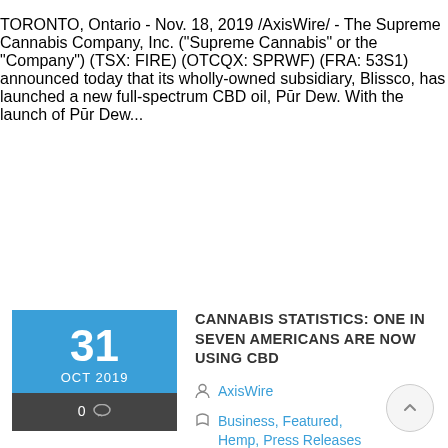TORONTO, Ontario - Nov. 18, 2019 /AxisWire/ - The Supreme Cannabis Company, Inc. ("Supreme Cannabis" or the "Company") (TSX: FIRE) (OTCQX: SPRWF) (FRA: 53S1) announced today that its wholly-owned subsidiary, Blissco, has launched a new full-spectrum CBD oil, Pūr Dew. With the launch of Pūr Dew...
[Figure (other): Date badge showing '31 OCT 2019' with blue top section and dark gray bottom section showing '0 comments']
CANNABIS STATISTICS: ONE IN SEVEN AMERICANS ARE NOW USING CBD
AxisWire
Business, Featured, Hemp, Press Releases
Share